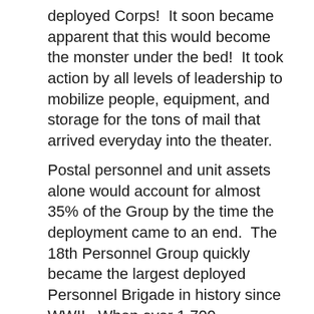deployed Corps!  It soon became apparent that this would become the monster under the bed!  It took action by all levels of leadership to mobilize people, equipment, and storage for the tons of mail that arrived everyday into the theater.
Postal personnel and unit assets alone would account for almost 35% of the Group by the time the deployment came to an end.  The 18th Personnel Group quickly became the largest deployed Personnel Brigade in history since WWII.  When over 1,700 replacements began filing into the Corps, through the Replacement Detachment, the 18th Personnel Group actually became the largest unit in the Corps rear detachment.  We fed, housed, and supplied newly arriving troops